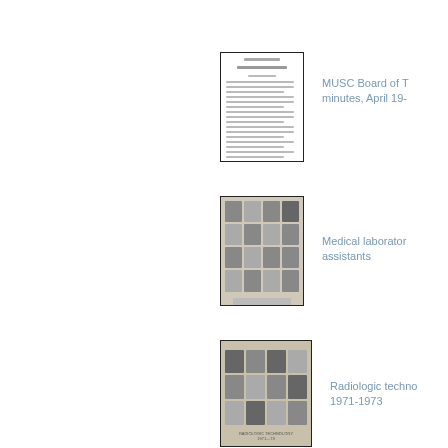[Figure (photo): Thumbnail of a document page — MUSC Board of Trustees minutes, April 19xx]
MUSC Board of Trustees minutes, April 19-
[Figure (photo): Group portrait photo page of medical laboratory assistants — grid of headshots]
Medical laboratory assistants
[Figure (photo): Group portrait photo page of radiologic technology students 1971-1973]
Radiologic technology 1971-1973